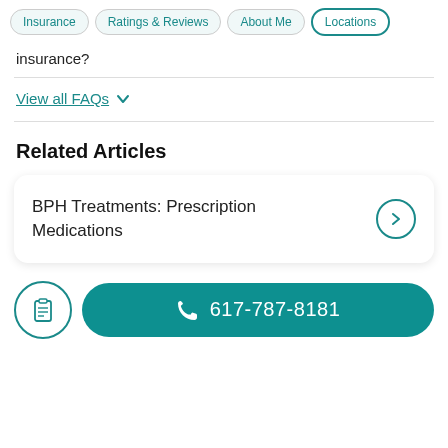Insurance | Ratings & Reviews | About Me | Locations
insurance?
View all FAQs
Related Articles
BPH Treatments: Prescription Medications
617-787-8181